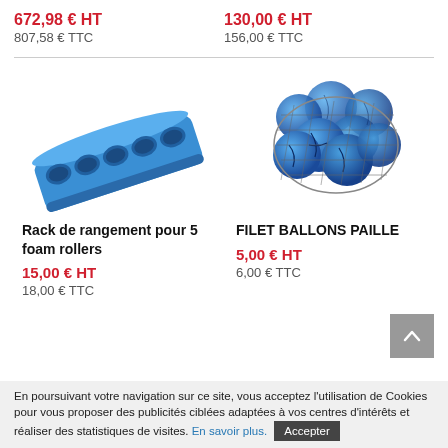672,98 € HT
807,58 € TTC
130,00 € HT
156,00 € TTC
[Figure (photo): Blue foam roller storage rack for 5 foam rollers, rectangular shape with 5 holes]
[Figure (photo): Net bag containing multiple blue paille balls]
Rack de rangement pour 5 foam rollers
FILET BALLONS PAILLE
15,00 € HT
18,00 € TTC
5,00 € HT
6,00 € TTC
En poursuivant votre navigation sur ce site, vous acceptez l'utilisation de Cookies pour vous proposer des publicités ciblées adaptées à vos centres d'intérêts et réaliser des statistiques de visites. En savoir plus.  Accepter